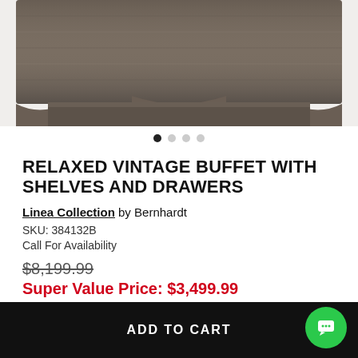[Figure (photo): Product image of a relaxed vintage buffet with dark wood grain finish, curved front, showing top portion of the furniture piece on white background.]
RELAXED VINTAGE BUFFET WITH SHELVES AND DRAWERS
Linea Collection by Bernhardt
SKU: 384132B
Call For Availability
$8,199.99
Super Value Price: $3,499.99
BE THE FIRST TO WRITE A REVIEW
ADD TO CART